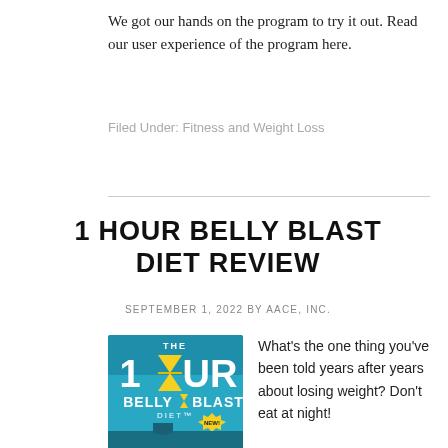We got our hands on the program to try it out. Read our user experience of the program here.
Filed Under: Fitness and Weight Loss
1 HOUR BELLY BLAST DIET REVIEW
SEPTEMBER 1, 2022 BY AACE, INC.
[Figure (photo): Book cover of 'The 1 Hour Belly Blast Diet' program — teal/blue background with large yellow text, hourglass graphic, and 'NEW!' starburst badge]
What's the one thing you've been told years after years about losing weight? Don't eat at night!